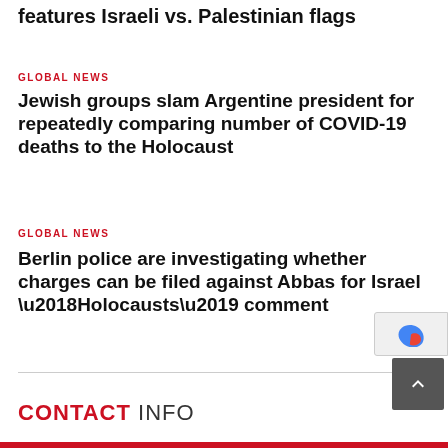features Israeli vs. Palestinian flags
GLOBAL NEWS
Jewish groups slam Argentine president for repeatedly comparing number of COVID-19 deaths to the Holocaust
GLOBAL NEWS
Berlin police are investigating whether charges can be filed against Abbas for Israel ‘Holocausts’ comment
CONTACT INFO